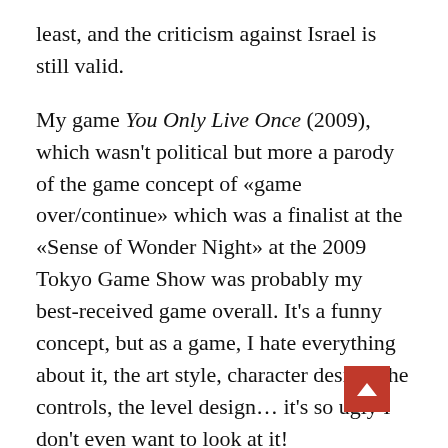least, and the criticism against Israel is still valid.
My game You Only Live Once (2009), which wasn't political but more a parody of the game concept of «game over/continue» which was a finalist at the «Sense of Wonder Night» at the 2009 Tokyo Game Show was probably my best-received game overall. It's a funny concept, but as a game, I hate everything about it, the art style, character design, the controls, the level design… it's so ugly I don't even want to look at it!
Of my political games, I'm definitely most satisfied with You Have To Defecate Upon King Bhumibol (2009),